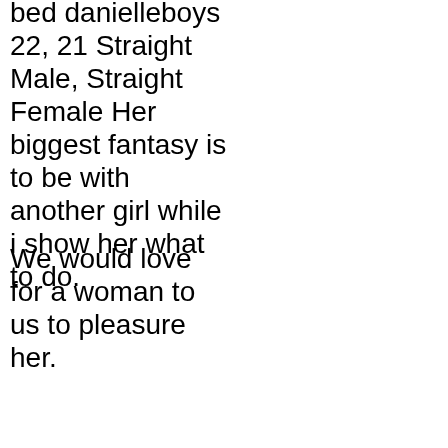bed danielleboys 22, 21 Straight Male, Straight Female Her biggest fantasy is to be with another girl while i show her what to do.
We would love for a woman to us to pleasure her.